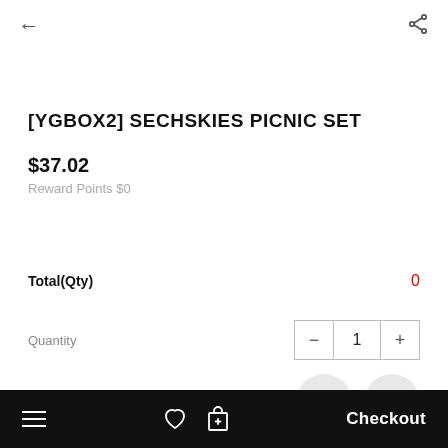[Figure (screenshot): Back arrow navigation icon in top left]
[Figure (screenshot): Share icon in top right]
[YGBOX2] SECHSKIES PICNIC SET
$37.02
Reward Points $0
Total(Qty)    0
Quantity    - 1 +
[Figure (screenshot): Down chevron circular button]
[Figure (screenshot): Up chevron circular button]
≡  ♡  🛒  Checkout